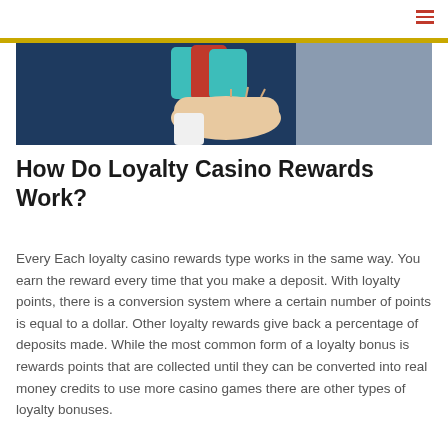[Figure (illustration): A hand holding casino chips (teal/cyan and red) against a dark navy background, with a lighter gray block on the right side. This is a banner/hero image for an article about casino loyalty rewards.]
How Do Loyalty Casino Rewards Work?
Every Each loyalty casino rewards type works in the same way. You earn the reward every time that you make a deposit. With loyalty points, there is a conversion system where a certain number of points is equal to a dollar. Other loyalty rewards give back a percentage of deposits made. While the most common form of a loyalty bonus is rewards points that are collected until they can be converted into real money credits to use more casino games there are other types of loyalty bonuses.